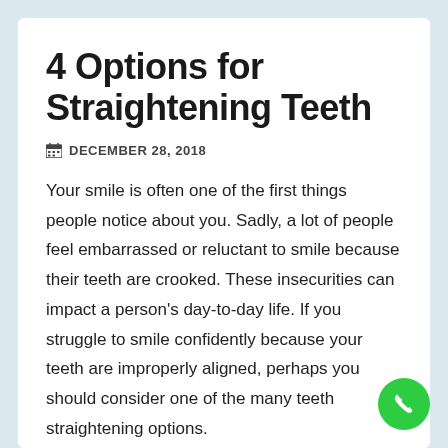4 Options for Straightening Teeth
DECEMBER 28, 2018
Your smile is often one of the first things people notice about you. Sadly, a lot of people feel embarrassed or reluctant to smile because their teeth are crooked. These insecurities can impact a person’s day-to-day life. If you struggle to smile confidently because your teeth are improperly aligned, perhaps you should consider one of the many teeth straightening options.